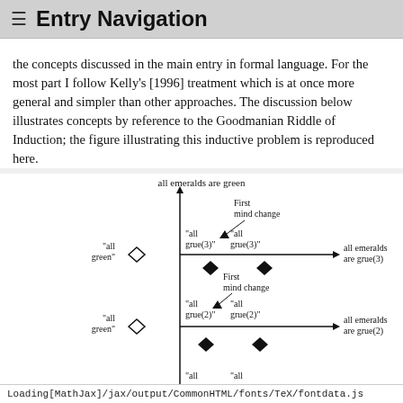≡  Entry Navigation
the concepts discussed in the main entry in formal language. For the most part I follow Kelly's [1996] treatment which is at once more general and simpler than other approaches. The discussion below illustrates concepts by reference to the Goodmanian Riddle of Induction; the figure illustrating this inductive problem is reproduced here.
[Figure (other): Diagram showing two horizontal axes labeled 'all emeralds are grue(3)' and 'all emeralds are grue(2)', with a vertical axis labeled 'all emeralds are green'. Diamond markers labeled 'all green', 'all grue(3)', 'all grue(2)' are positioned along the axes. Arrows and labels indicate 'First mind change'. The top label reads 'all emeralds are green'.]
Loading[MathJax]/jax/output/CommonHTML/fonts/TeX/fontdata.js